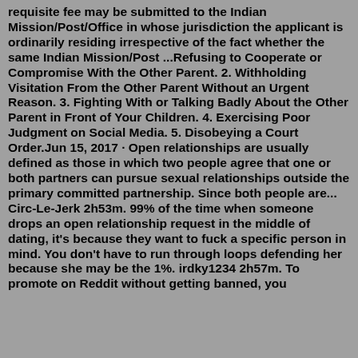requisite fee may be submitted to the Indian Mission/Post/Office in whose jurisdiction the applicant is ordinarily residing irrespective of the fact whether the same Indian Mission/Post ...Refusing to Cooperate or Compromise With the Other Parent. 2. Withholding Visitation From the Other Parent Without an Urgent Reason. 3. Fighting With or Talking Badly About the Other Parent in Front of Your Children. 4. Exercising Poor Judgment on Social Media. 5. Disobeying a Court Order.Jun 15, 2017 · Open relationships are usually defined as those in which two people agree that one or both partners can pursue sexual relationships outside the primary committed partnership. Since both people are... Circ-Le-Jerk 2h53m. 99% of the time when someone drops an open relationship request in the middle of dating, it's because they want to fuck a specific person in mind. You don't have to run through loops defending her because she may be the 1%. irdky1234 2h57m. To promote on Reddit without getting banned, you